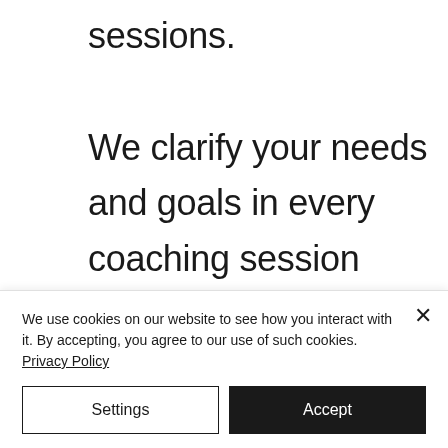sessions.

We clarify your needs and goals in every coaching session followed by a hypnosis session.

It allows you to work on multiple issues and is the best for those who need
We use cookies on our website to see how you interact with it. By accepting, you agree to our use of such cookies. Privacy Policy